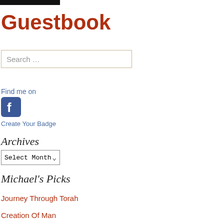Guestbook
Search …
Find me on
[Figure (logo): Facebook logo icon — blue square with white 'f' letter]
Create Your Badge
Archives
Select Month
Michael's Picks
Journey Through Torah
Creation Of Man